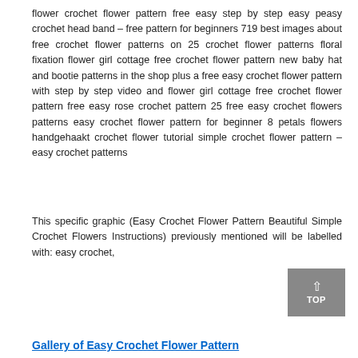flower crochet flower pattern free easy step by step easy peasy crochet head band – free pattern for beginners 719 best images about free crochet flower patterns on 25 crochet flower patterns floral fixation flower girl cottage free crochet flower pattern new baby hat and bootie patterns in the shop plus a free easy crochet flower pattern with step by step video and flower girl cottage free crochet flower pattern free easy rose crochet pattern 25 free easy crochet flowers patterns easy crochet flower pattern for beginner 8 petals flowers handgehaakt crochet flower tutorial simple crochet flower pattern – easy crochet patterns
This specific graphic (Easy Crochet Flower Pattern Beautiful Simple Crochet Flowers Instructions) previously mentioned will be labelled with: easy crochet,
Gallery of Easy Crochet Flower Pattern